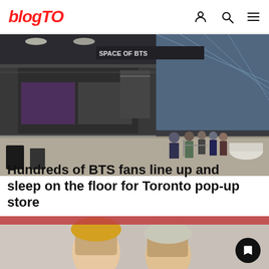blogTO
[Figure (photo): Interior of a shopping mall showing the SPACE OF BTS pop-up store with people lined up outside]
Hundreds of BTS fans line up and sleep on the floor for Toronto pop-up store
[Figure (photo): Close-up photo of BTS members with a bookmark icon overlay]